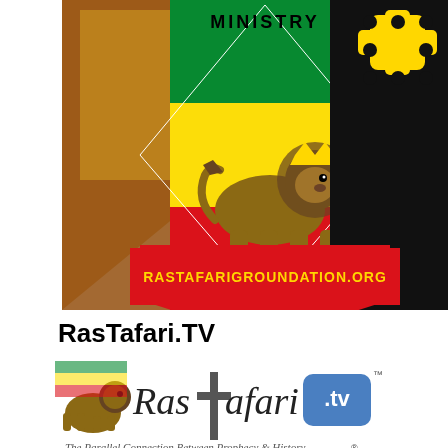[Figure (illustration): Rastafari Groundation Ministry logo/banner with lion of Judah on Ethiopian flag colors (green, gold, red), geometric diamond shapes with Rastafari imagery, and text 'RASTAFARIGROUNDATION.ORG' in red band at bottom]
RasTafari.TV
[Figure (logo): RasTafari.TV logo: lion figure on left, stylized text 'Rastafari.tv' with cross as 't', blue TV screen icon with '.tv' text and TM mark, tagline 'The Parallel Connection Between Prophecy & History®']
Friends of Fairfield House (Bath, England)
Advertisements
[Figure (screenshot): Longreads advertisement: red circle with 'L' logo, 'LONGREADS' text, 'Bringing you the best stories on the web since 2009.']